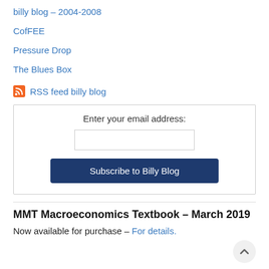billy blog – 2004-2008
CofFEE
Pressure Drop
The Blues Box
RSS feed billy blog
Enter your email address:
Subscribe to Billy Blog
MMT Macroeconomics Textbook – March 2019
Now available for purchase – For details.